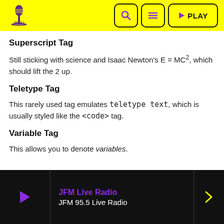JFM 95.5 Radio – navigation header with logo, search, menu, and PLAY buttons
Superscript Tag
Still sticking with science and Isaac Newton's E = MC², which should lift the 2 up.
Teletype Tag
This rarely used tag emulates teletype text, which is usually styled like the <code> tag.
Variable Tag
This allows you to denote variables.
JFM Live Radio – JFM 95.5 Live Radio